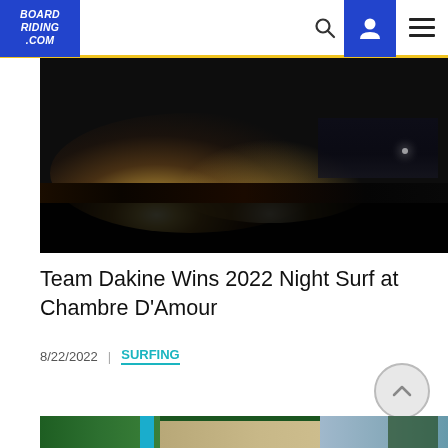BOARDRIDING.COM
[Figure (photo): Night surf event at Chambre D'Amour — large crowd gathered on a dark beach with bright stage lights illuminating the scene]
Team Dakine Wins 2022 Night Surf at Chambre D'Amour
8/22/2022  |  SURFING
[Figure (photo): Outdoor surf event area during daylight with a turquoise banner/flag and trees in the background]